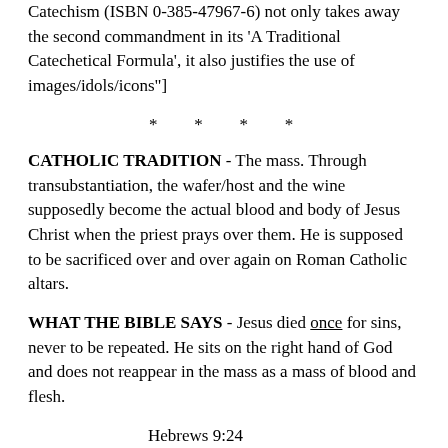Catechism (ISBN 0-385-47967-6) not only takes away the second commandment in its 'A Traditional Catechetical Formula', it also justifies the use of images/idols/icons"]
* * * *
CATHOLIC TRADITION - The mass. Through transubstantiation, the wafer/host and the wine supposedly become the actual blood and body of Jesus Christ when the priest prays over them. He is supposed to be sacrificed over and over again on Roman Catholic altars.
WHAT THE BIBLE SAYS - Jesus died once for sins, never to be repeated. He sits on the right hand of God and does not reappear in the mass as a mass of blood and flesh.
Hebrews 9:24
For Christ is not entered into the holy places made